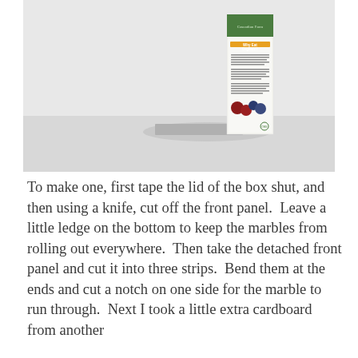[Figure (photo): A photograph of a cereal box (Cascadian Farm organic) standing upright on its narrow edge on a white surface, with its front panel facing sideways so the side panel is visible. A gray piece of cardboard is visible at the base. The background is white/light gray.]
To make one, first tape the lid of the box shut, and then using a knife, cut off the front panel.  Leave a little ledge on the bottom to keep the marbles from rolling out everywhere.  Then take the detached front panel and cut it into three strips.  Bend them at the ends and cut a notch on one side for the marble to run through.  Next I took a little extra cardboard from another